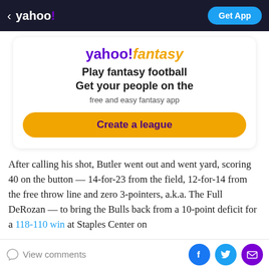< yahoo! | Get App
[Figure (infographic): Yahoo Fantasy advertisement card with logo, headline 'Play fantasy football Get your people on the', subline 'free and easy fantasy app', and a 'Create a league' button]
After calling his shot, Butler went out and went yard, scoring 40 on the button — 14-for-23 from the field, 12-for-14 from the free throw line and zero 3-pointers, a.k.a. The Full DeRozan — to bring the Bulls back from a 10-point deficit for a 118-110 win at Staples Center on
View comments | Facebook | Twitter | Email